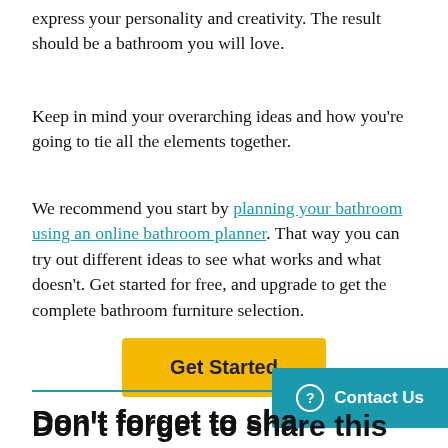express your personality and creativity. The result should be a bathroom you will love.
Keep in mind your overarching ideas and how you're going to tie all the elements together.
We recommend you start by planning your bathroom using an online bathroom planner. That way you can try out different ideas to see what works and what doesn't. Get started for free, and upgrade to get the complete bathroom furniture selection.
Get Started
Don't forget to share this post!